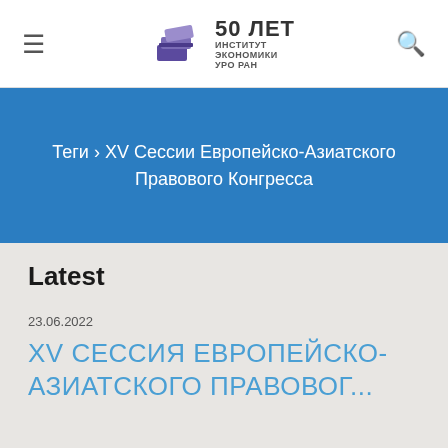≡  [Logo: 50 ЛЕТ ИНСТИТУТ ЭКОНОМИКИ УрО РАН]  🔍
Теги › XV Сессии Европейско-Азиатского Правового Конгресса
Latest
23.06.2022
XV СЕССИЯ ЕВРОПЕЙСКО-АЗИАТСКОГО ПРАВОВОГ...